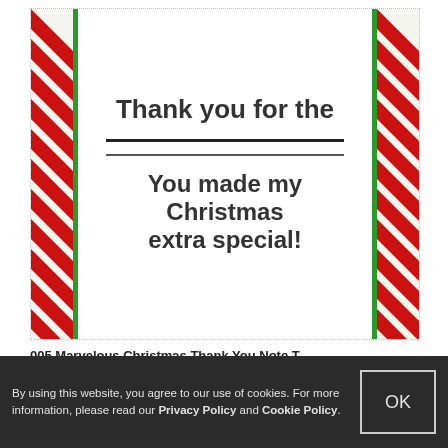[Figure (illustration): Christmas thank you note card with red and white candy cane stripe borders on left and right, green vertical lines adjacent to stripes, and text in center reading: 'Thank you for the _____ _____ You made my Christmas extra special!']
005 Marvelous Christmas Thank You Note T
By using this website, you agree to our use of cookies. For more information, please read our Privacy Policy and Cookie Policy.